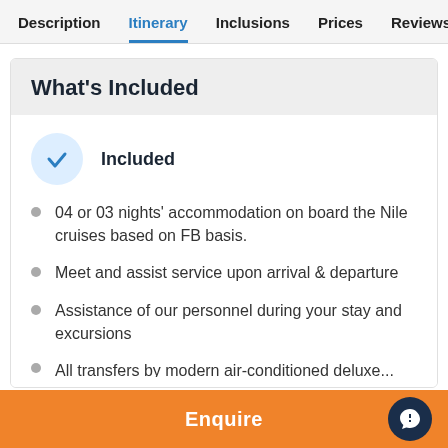Description | Itinerary | Inclusions | Prices | Reviews
What's Included
Included
04 or 03 nights' accommodation on board the Nile cruises based on FB basis.
Meet and assist service upon arrival & departure
Assistance of our personnel during your stay and excursions
All transfers by modern air-conditioned deluxe...